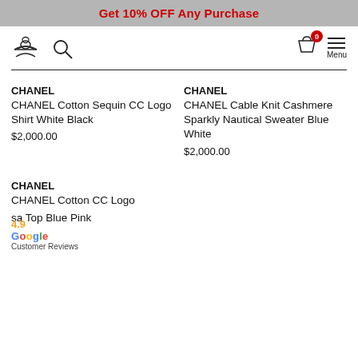Get 10% OFF Any Purchase
[Figure (screenshot): Navigation bar with user icon, search icon, cart icon with badge showing 0, and Menu icon]
CHANEL
CHANEL Cotton Sequin CC Logo Shirt White Black
$2,000.00
CHANEL
CHANEL Cable Knit Cashmere Sparkly Nautical Sweater Blue White
$2,000.00
CHANEL
CHANEL Cotton CC Logo ...sa Top Blue Pink
4.9
Google
Customer Reviews